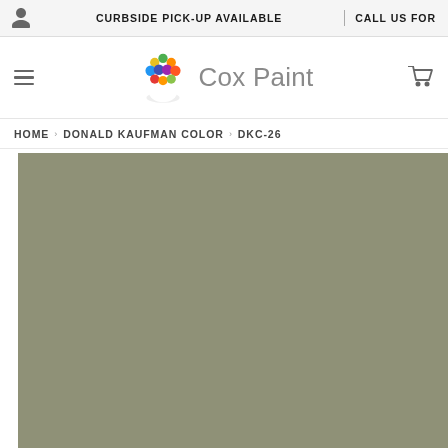CURBSIDE PICK-UP AVAILABLE   CALL US FOR
[Figure (logo): Cox Paint logo with colorful dot cluster forming a head shape alongside 'Cox Paint' text in gray]
HOME › DONALD KAUFMAN COLOR › DKC-26
[Figure (other): Large solid muted olive-green/sage color swatch filling the lower portion of the page representing DKC-26 paint color]